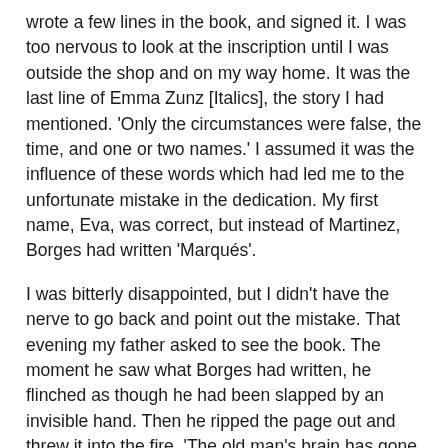wrote a few lines in the book, and signed it. I was too nervous to look at the inscription until I was outside the shop and on my way home. It was the last line of Emma Zunz [Italics], the story I had mentioned. 'Only the circumstances were false, the time, and one or two names.' I assumed it was the influence of these words which had led me to the unfortunate mistake in the dedication. My first name, Eva, was correct, but instead of Martinez, Borges had written 'Marqués'.
I was bitterly disappointed, but I didn't have the nerve to go back and point out the mistake. That evening my father asked to see the book. The moment he saw what Borges had written, he flinched as though he had been slapped by an invisible hand. Then he ripped the page out and threw it into the fire. 'The old man's brain has gone soft,' he said. The matter was never referred to again, and when I looked at the book a few days later there was not sign of the torn flyleaf. Someone must have bought a new copy and exchanged it for the spoiled one. It was as if the whole incident had been cancelled from my life, as though it had never happened.